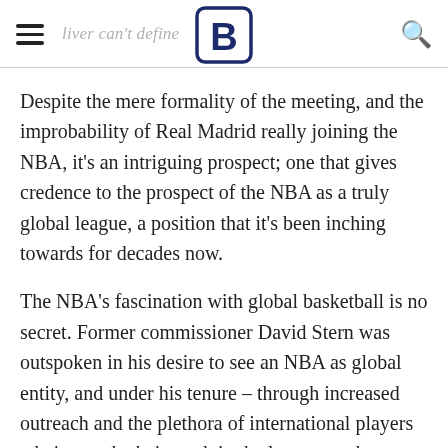Bleacher Report logo and navigation
Despite the mere formality of the meeting, and the improbability of Real Madrid really joining the NBA, it's an intriguing prospect; one that gives credence to the prospect of the NBA as a truly global league, a position that it's been inching towards for decades now.
The NBA's fascination with global basketball is no secret. Former commissioner David Stern was outspoken in his desire to see an NBA as global entity, and under his tenure – through increased outreach and the plethora of international players who've made their mark in the league — the international draw of the NBA has grown leaps and bounds. Ahead of the 2005 finals, a matchup between the Detroit Pistons and the San Antonio Spurs that featured seven international players, Stern was buoyant.